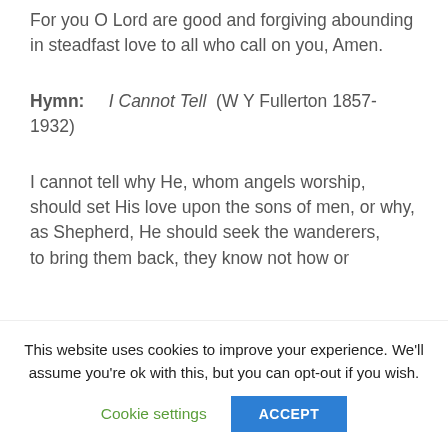For you O Lord are good and forgiving abounding in steadfast love to all who call on you, Amen.
Hymn:    I Cannot Tell  (W Y Fullerton 1857-1932)
I cannot tell why He, whom angels worship, should set His love upon the sons of men, or why, as Shepherd, He should seek the wanderers, to bring them back, they know not how or
This website uses cookies to improve your experience. We'll assume you're ok with this, but you can opt-out if you wish.